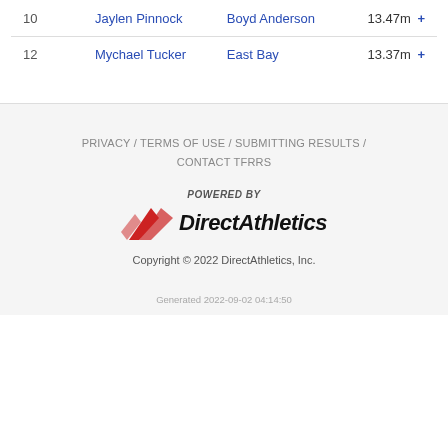| # | Name | School | Result |
| --- | --- | --- | --- |
| 10 | Jaylen Pinnock | Boyd Anderson | 13.47m + |
| 12 | Mychael Tucker | East Bay | 13.37m + |
PRIVACY / TERMS OF USE / SUBMITTING RESULTS / CONTACT TFRRS
[Figure (logo): POWERED BY DirectAthletics logo with red swoosh icon]
Copyright © 2022 DirectAthletics, Inc.
Generated 2022-09-02 04:14:50